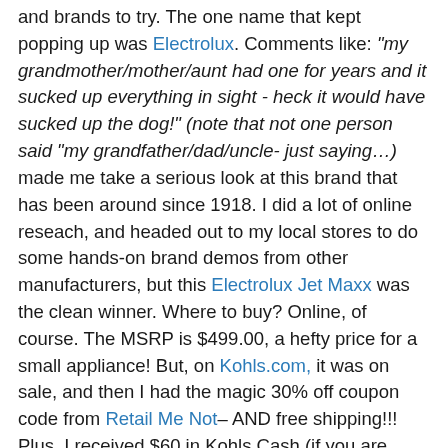and brands to try. The one name that kept popping up was Electrolux. Comments like: "my grandmother/mother/aunt had one for years and it sucked up everything in sight - heck it would have sucked up the dog!" (note that not one person said "my grandfather/dad/uncle- just saying…) made me take a serious look at this brand that has been around since 1918. I did a lot of online reseach, and headed out to my local stores to do some hands-on brand demos from other manufacturers, but this Electrolux Jet Maxx was the clean winner. Where to buy? Online, of course. The MSRP is $499.00, a hefty price for a small appliance! But, on Kohls.com, it was on sale, and then I had the magic 30% off coupon code from Retail Me Not– AND free shipping!!! Plus, I received $60 in Kohls Cash (if you are unaware of this deal, for every $50 you spend you get $10 in Kohls dollars to spend-sweet!) So, with the sale